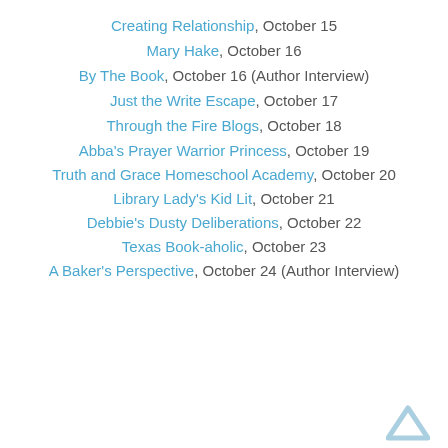Creating Relationship, October 15
Mary Hake, October 16
By The Book, October 16 (Author Interview)
Just the Write Escape, October 17
Through the Fire Blogs, October 18
Abba's Prayer Warrior Princess, October 19
Truth and Grace Homeschool Academy, October 20
Library Lady's Kid Lit, October 21
Debbie's Dusty Deliberations, October 22
Texas Book-aholic, October 23
A Baker's Perspective, October 24 (Author Interview)